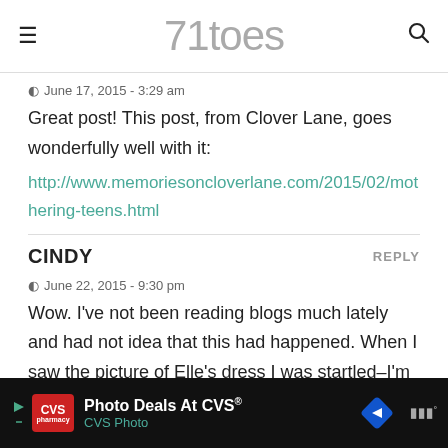71toes
June 17, 2015 - 3:29 am
Great post! This post, from Clover Lane, goes wonderfully well with it:
http://www.memoriesoncloverlane.com/2015/02/mothering-teens.html
CINDY
June 22, 2015 - 9:30 pm
Wow. I've not been reading blogs much lately and had not idea that this had happened. When I saw the picture of Elle's dress I was startled–I'm a lifelong 5th gen member and I think it looks aw...
[Figure (other): CVS Photo advertisement banner at bottom of page. Shows CVS Pharmacy logo, 'Photo Deals At CVS®' text, 'CVS Photo' subtext, navigation arrow icon, and video/media icons on dark background.]